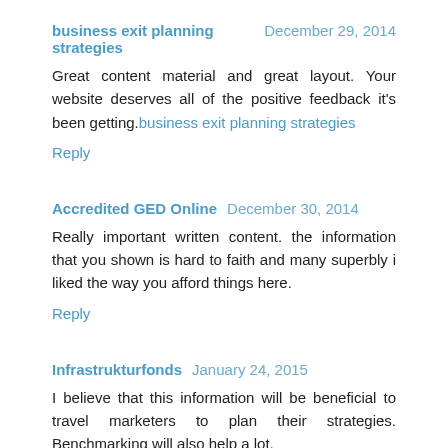business exit planning strategies  December 29, 2014
Great content material and great layout. Your website deserves all of the positive feedback it's been getting.business exit planning strategies
Reply
Accredited GED Online  December 30, 2014
Really important written content. the information that you shown is hard to faith and many superbly i liked the way you afford things here.
Reply
Infrastrukturfonds  January 24, 2015
I believe that this information will be beneficial to travel marketers to plan their strategies. Benchmarking will also help a lot.